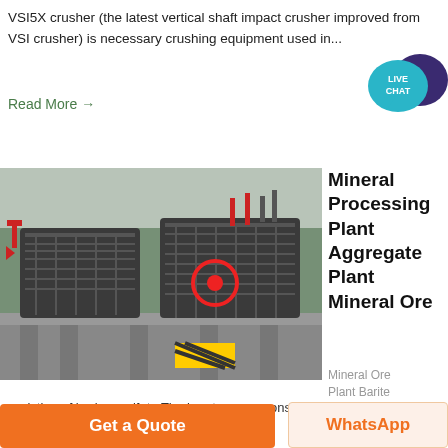VSI5X crusher (the latest vertical shaft impact crusher improved from VSI crusher) is necessary crushing equipment used in...
Read More →
[Figure (photo): Industrial mineral processing plant with large crusher machines mounted on elevated steel platform, with trees in background]
Mineral Processing Plant Aggregate Plant Mineral Ore
Mineral Ore
Plant Barite
Baryte or barite is a mineral
consisting of barium sulfate The baryte group consists of baryte celestine
Get a Quote
WhatsApp